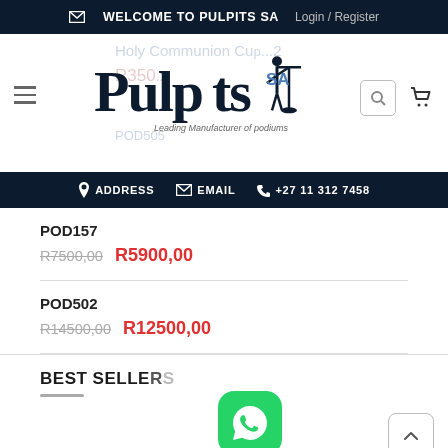WELCOME TO PULPITS SA  Login / Register
[Figure (logo): Pulpits SA logo with silhouette of speaker at podium and tagline 'Leading Manufacturer of podiums']
ADDRESS  EMAIL  +27 11 312 7458
POD157
R7500,00  R5900,00
POD502
R14500,00  R12500,00
BEST SELLERS